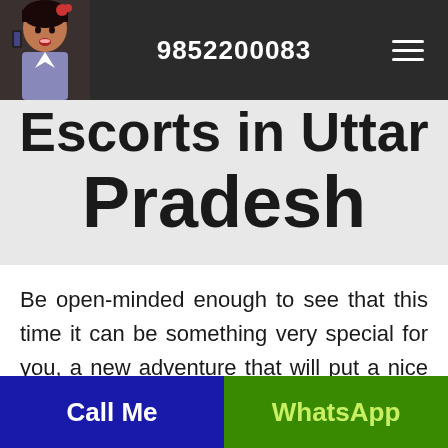9852200083
Escorts in Uttar Pradesh
Be open-minded enough to see that this time it can be something very special for you, a new adventure that will put a nice smile on your face. It doesn't really matter if you have plans, when you stay there or you are going spontaneously without a plan, your trip to Gtb Nagar will be much better if spent with a companion as exquisite as any of our sweetheart Gtb Nagar escorts call girls. Every
Call Me | WhatsApp